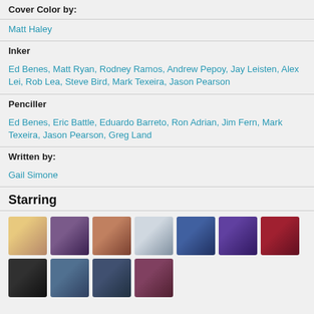Cover Color by:
Matt Haley
Inker
Ed Benes, Matt Ryan, Rodney Ramos, Andrew Pepoy, Jay Leisten, Alex Lei, Rob Lea, Steve Bird, Mark Texeira, Jason Pearson
Penciller
Ed Benes, Eric Battle, Eduardo Barreto, Ron Adrian, Jim Fern, Mark Texeira, Jason Pearson, Greg Land
Written by:
Gail Simone
Starring
[Figure (illustration): Grid of 11 comic character portrait thumbnails]